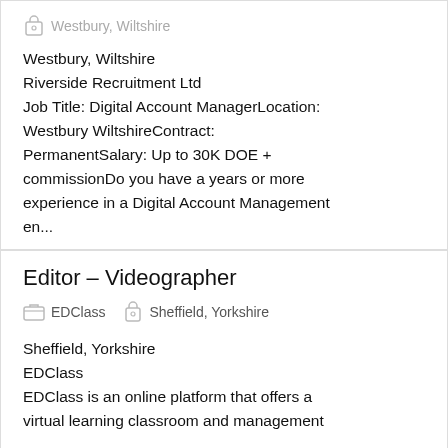Westbury, Wiltshire
Westbury, Wiltshire
Riverside Recruitment Ltd
Job Title: Digital Account ManagerLocation: Westbury WiltshireContract: PermanentSalary: Up to 30K DOE + commissionDo you have a years or more experience in a Digital Account Management en...
Editor – Videographer
EDClass   Sheffield, Yorkshire
Sheffield, Yorkshire
EDClass
EDClass is an online platform that offers a virtual learning classroom and management